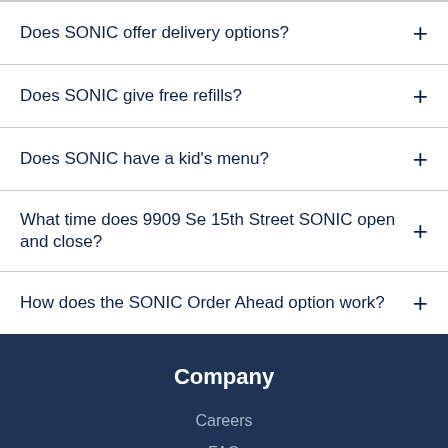Does SONIC offer delivery options?
Does SONIC give free refills?
Does SONIC have a kid's menu?
What time does 9909 Se 15th Street SONIC open and close?
How does the SONIC Order Ahead option work?
Company
Careers
FAQ